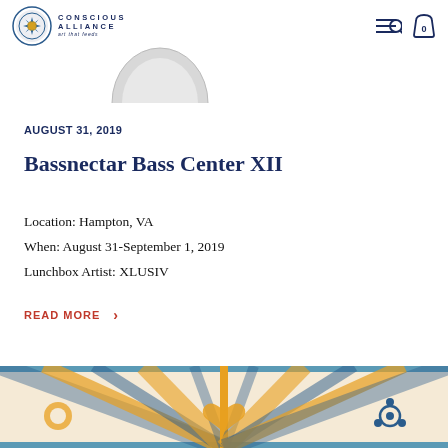Conscious Alliance — art that feeds
[Figure (logo): Conscious Alliance circular logo with decorative blue and yellow design]
AUGUST 31, 2019
Bassnectar Bass Center XII
Location: Hampton, VA
When: August 31-September 1, 2019
Lunchbox Artist: XLUSIV
READ MORE >
[Figure (illustration): Colorful event artwork with radiating sunburst pattern in blue, yellow and white with geometric symbols]